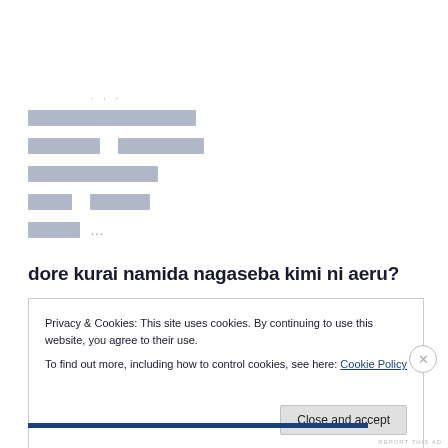· · ·
[redacted lines - Japanese/CJK characters]
dore kurai namida nagaseba kimi ni aeru?
Privacy & Cookies: This site uses cookies. By continuing to use this website, you agree to their use.
To find out more, including how to control cookies, see here: Cookie Policy
Close and accept